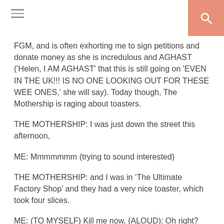[hamburger menu icon] [search icon]
FGM, and is often exhorting me to sign petitions and donate money as she is incredulous and AGHAST ('Helen, I AM AGHAST' that this is still going on 'EVEN IN THE UK!!! IS NO ONE LOOKING OUT FOR THESE WEE ONES,' she will say). Today though, The Mothership is raging about toasters.
THE MOTHERSHIP: I was just down the street this afternoon,
ME: Mmmmmmm (trying to sound interested)
THE MOTHERSHIP: and I was in ‘The Ultimate Factory Shop’ and they had a very nice toaster, which took four slices.
ME: (TO MYSELF) Kill me now, (ALOUD): Oh right?